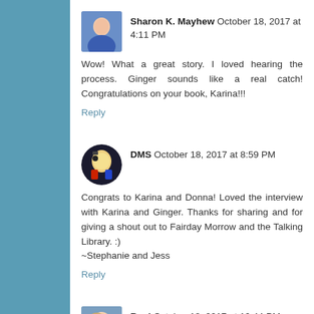Sharon K. Mayhew October 18, 2017 at 4:11 PM
Wow! What a great story. I loved hearing the process. Ginger sounds like a real catch! Congratulations on your book, Karina!!!
Reply
DMS October 18, 2017 at 8:59 PM
Congrats to Karina and Donna! Loved the interview with Karina and Ginger. Thanks for sharing and for giving a shout out to Fairday Morrow and the Talking Library. :)
~Stephanie and Jess
Reply
Rosi October 18, 2017 at 10:44 PM
I have been hearing a lot about this book and